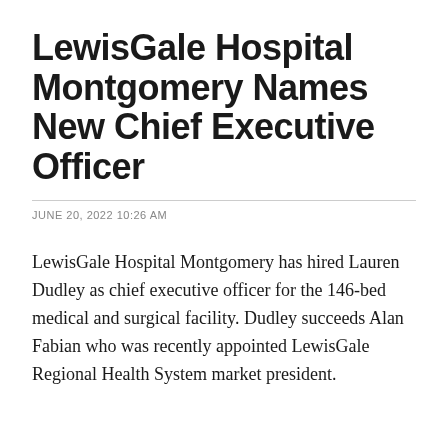LewisGale Hospital Montgomery Names New Chief Executive Officer
JUNE 20, 2022 10:26 AM
LewisGale Hospital Montgomery has hired Lauren Dudley as chief executive officer for the 146-bed medical and surgical facility. Dudley succeeds Alan Fabian who was recently appointed LewisGale Regional Health System market president.